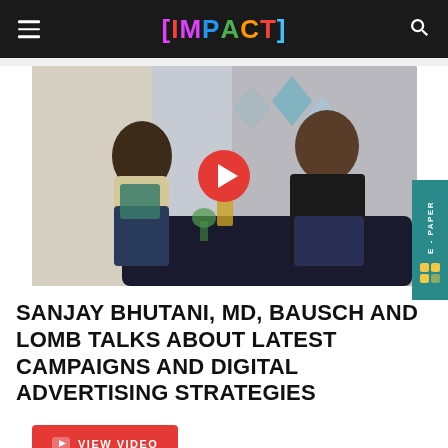[IMPACT]
[Figure (photo): Two people seated and having a conversation in an interview setting. A woman with curly hair on the left wearing a light jacket and teal scarf, a man on the right in a dark shirt and blazer. Red play button overlay in the center indicating a video.]
SANJAY BHUTANI, MD, BAUSCH AND LOMB TALKS ABOUT LATEST CAMPAIGNS AND DIGITAL ADVERTISING STRATEGIES
VIEW VIDEO